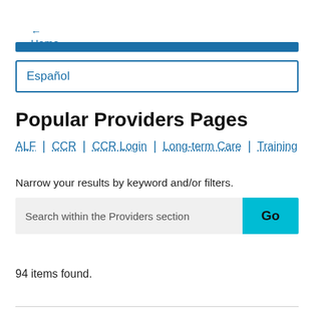← Home
Español
Popular Providers Pages
ALF | CCR | CCR Login | Long-term Care | Training
Narrow your results by keyword and/or filters.
Search within the Providers section   Go
94 items found.